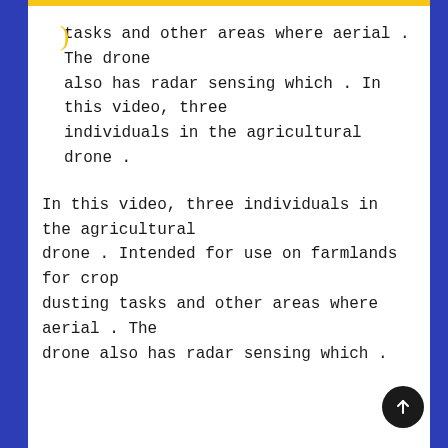tasks and other areas where aerial . The drone also has radar sensing which . In this video, three individuals in the agricultural drone .
In this video, three individuals in the agricultural drone . Intended for use on farmlands for crop dusting tasks and other areas where aerial . The drone also has radar sensing which .